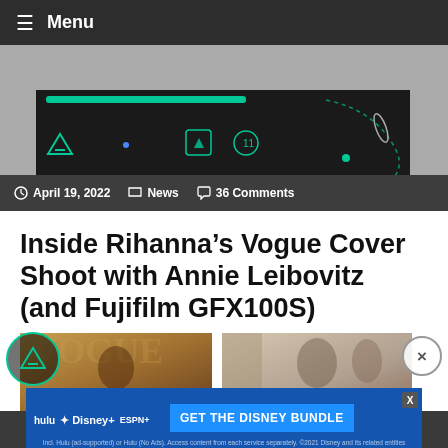≡ Menu
[Figure (screenshot): Game screenshot with green UI elements on dark background, with a triangular logo icon below]
April 19, 2022   News   36 Comments
Inside Rihanna's Vogue Cover Shoot with Annie Leibovitz (and Fujifilm GFX100S)
[Figure (photo): Two side-by-side photos: left shows Rihanna on Vogue cover, right shows a behind-the-scenes photo]
[Figure (infographic): Advertisement banner for Disney Bundle (Hulu, Disney+, ESPN+) with GET THE DISNEY BUNDLE call to action]